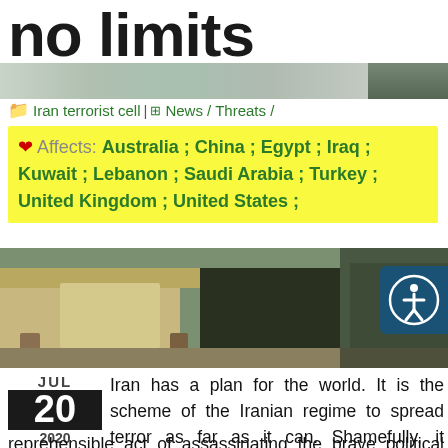no limits
Iran terrorist cell | News / Threats /
Affects: Australia ; China ; Egypt ; Iraq ; Kuwait ; Lebanon ; Saudi Arabia ; Turkey ; United Kingdom ; United States ;
[Figure (photo): Outdoor scene with tents and posted photographs, appears to be a memorial or political display]
[Figure (other): Audio player controls: play, pause, stop buttons]
JUL 20 2020 — Iran has a plan for the world. It is the scheme of the Iranian regime to spread terror as far as it can. Shamefully, it appears to have carried out the reprehensible act of assassinating the brave political writer and analyst Hisham Al-Hashimi in Baghdad last